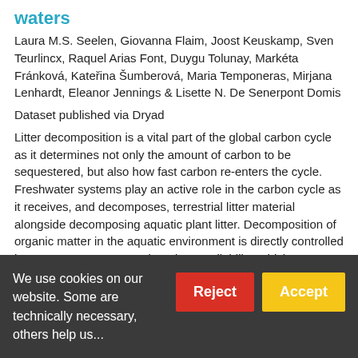waters
Laura M.S. Seelen, Giovanna Flaim, Joost Keuskamp, Sven Teurlincx, Raquel Arias Font, Duygu Tolunay, Markéta Fránková, Kateřina Šumberová, Maria Temponeras, Mirjana Lenhardt, Eleanor Jennings & Lisette N. De Senerpont Domis
Dataset published via Dryad
Litter decomposition is a vital part of the global carbon cycle as it determines not only the amount of carbon to be sequestered, but also how fast carbon re-enters the cycle. Freshwater systems play an active role in the carbon cycle as it receives, and decomposes, terrestrial litter material alongside decomposing aquatic plant litter. Decomposition of organic matter in the aquatic environment is directly controlled by water temperature and nutrient availability, which are continuously affected...
1 citation   170 views   37 downloads
We use cookies on our website. Some are technically necessary, others help us...